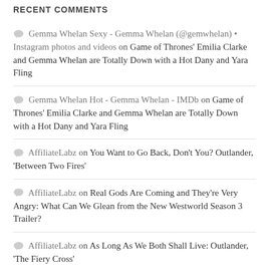RECENT COMMENTS
Gemma Whelan Sexy - Gemma Whelan (@gemwhelan) • Instagram photos and videos on Game of Thrones' Emilia Clarke and Gemma Whelan are Totally Down with a Hot Dany and Yara Fling
Gemma Whelan Hot - Gemma Whelan - IMDb on Game of Thrones' Emilia Clarke and Gemma Whelan are Totally Down with a Hot Dany and Yara Fling
AffiliateLabz on You Want to Go Back, Don't You? Outlander, 'Between Two Fires'
AffiliateLabz on Real Gods Are Coming and They're Very Angry: What Can We Glean from the New Westworld Season 3 Trailer?
AffiliateLabz on As Long As We Both Shall Live: Outlander, 'The Fiery Cross'